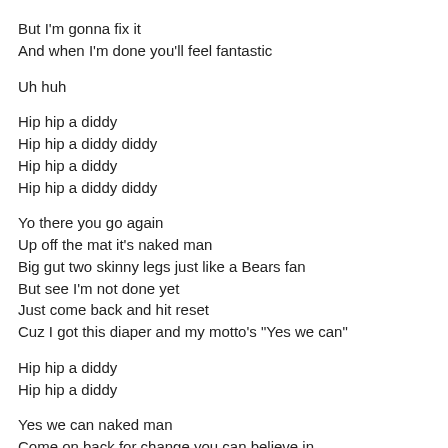But I'm gonna fix it
And when I'm done you'll feel fantastic
Uh huh
Hip hip a diddy
Hip hip a diddy diddy
Hip hip a diddy
Hip hip a diddy diddy
Yo there you go again
Up off the mat it's naked man
Big gut two skinny legs just like a Bears fan
But see I'm not done yet
Just come back and hit reset
Cuz I got this diaper and my motto's "Yes we can"
Hip hip a diddy
Hip hip a diddy
Yes we can naked man
Come on back for change you can believe in